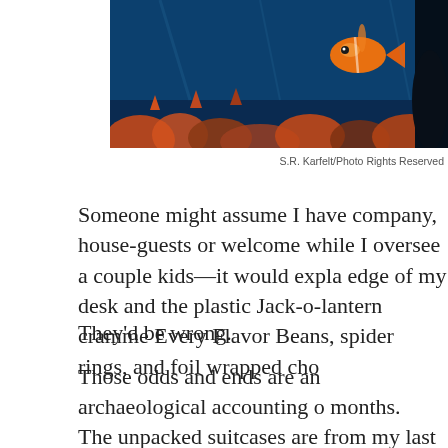[Figure (photo): Underwater coral reef photo with orange fish and blue water, partially visible at top of page]
S.R. Karfelt/Photo Rights Reserved
Someone might assume I have company, house-guests or welcome while I oversee a couple kids—it would explain the edge of my desk and the plastic Jack-o-lantern crammed with Every Flavor Beans, spider rings, and foil wrapped cho...
They'd be wrong.
Those odds and ends are an archaeological accounting of months.
The unpacked suitcases are from my last two trips and t... with camouflaged sweatshirts is from my guy's last fish...